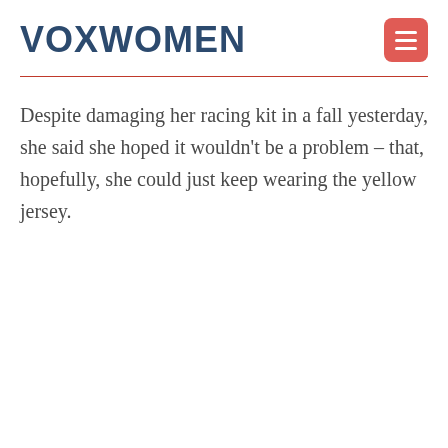VOXWOMEN
Despite damaging her racing kit in a fall yesterday, she said she hoped it wouldn't be a problem – that, hopefully, she could just keep wearing the yellow jersey.